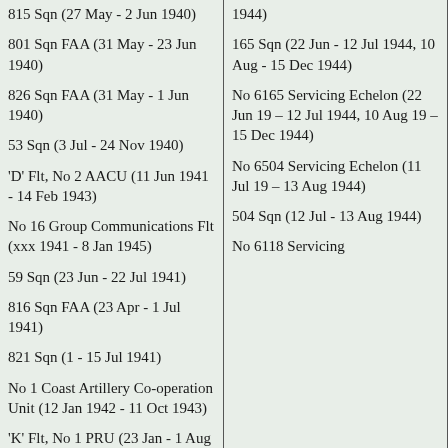| 815 Sqn (27 May - 2 Jun 1940)
801 Sqn FAA (31 May - 23 Jun 1940)
826 Sqn FAA (31 May - 1 Jun 1940)
53 Sqn (3 Jul - 24 Nov 1940)
'D' Flt, No 2 AACU (11 Jun 1941 - 14 Feb 1943)
No 16 Group Communications Flt (xxx 1941 - 8 Jan 1945)
59 Sqn (23 Jun - 22 Jul 1941)
816 Sqn FAA (23 Apr - 1 Jul 1941)
821 Sqn (1 - 15 Jul 1941)
No 1 Coast Artillery Co-operation Unit (12 Jan 1942 - 11 Oct 1943)
'K' Flt, No 1 PRU (23 Jan - 1 Aug 1942) | 1944)
165 Sqn (22 Jun - 12 Jul 1944, 10 Aug - 15 Dec 1944)
No 6165 Servicing Echelon (22 Jun 19 – 12 Jul 1944, 10 Aug 19 – 15 Dec 1944)
No 6504 Servicing Echelon (11 Jul 19 – 13 Aug 1944)
504 Sqn (12 Jul - 13 Aug 1944)
No 6118 Servicing |